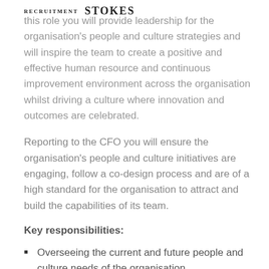RECRUITMENT STOKES
this role you will provide leadership for the organisation's people and culture strategies and will inspire the team to create a positive and effective human resource and continuous improvement environment across the organisation whilst driving a culture where innovation and outcomes are celebrated.
Reporting to the CFO you will ensure the organisation's people and culture initiatives are engaging, follow a co-design process and are of a high standard for the organisation to attract and build the capabilities of its team.
Key responsibilities:
Overseeing the current and future people and culture needs of the organisation.